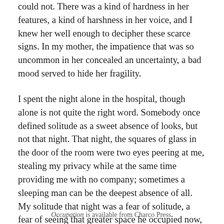could not. There was a kind of hardness in her features, a kind of harshness in her voice, and I knew her well enough to decipher these scarce signs. In my mother, the impatience that was so uncommon in her concealed an uncertainty, a bad mood served to hide her fragility.
I spent the night alone in the hospital, though alone is not quite the right word. Somebody once defined solitude as a sweet absence of looks, but not that night. That night, the squares of glass in the door of the room were two eyes peering at me, stealing my privacy while at the same time providing me with no company; sometimes a sleeping man can be the deepest absence of all. My solitude that night was a fear of solitude, a fear of seeing that greater space he occupied now, in the world, in the room, in me, transformed into emptiness.
Occupation is available from Charco Press.